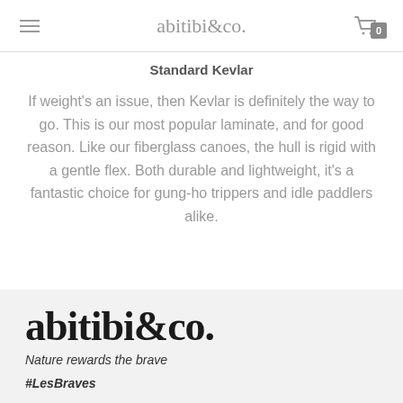abitibi&co.
Standard Kevlar
If weight's an issue, then Kevlar is definitely the way to go. This is our most popular laminate, and for good reason. Like our fiberglass canoes, the hull is rigid with a gentle flex. Both durable and lightweight, it's a fantastic choice for gung-ho trippers and idle paddlers alike.
[Figure (logo): abitibi&co. logo in large bold serif font]
Nature rewards the brave
#LesBraves